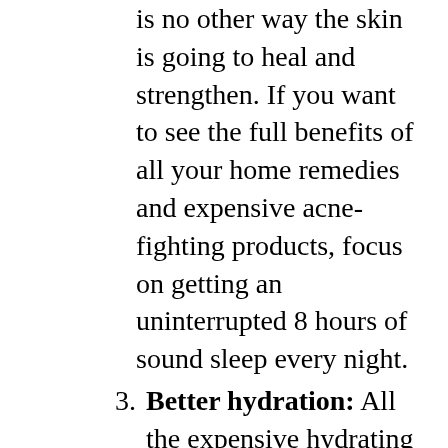is no other way the skin is going to heal and strengthen. If you want to see the full benefits of all your home remedies and expensive acne-fighting products, focus on getting an uninterrupted 8 hours of sound sleep every night.
3. Better hydration: All the expensive hydrating serums you may have applied, all the sheet masks that are a part of your 10-